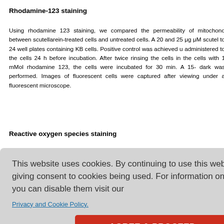Rhodamine-123 staining
Using rhodamine 123 staining, we compared the permeability of mitochondria between scutellarein-treated cells and untreated cells. A 20 and 25 μg μM scutellarein to 24 well plates containing KB cells. Positive control was achieved us administered to the cells 24 h before incubation. After twice rinsing the cells in P the cells with 1 mMol rhodamine 123, the cells were incubated for 30 min. A 15- dark was performed. Images of fluorescent cells were captured after viewing under a fluorescent microscope.
Reactive oxygen species staining
ng. A 24 h in was perform the incuba ad microsco
[Figure (screenshot): Cookie consent overlay with text: 'This website uses cookies. By continuing to use this website you are giving consent to cookies being used. For information on cookies and how you can disable them visit our Privacy and Cookie Policy.' and an AGREE & PROCEED button.]
cal detection e added to nt. Cells we the compounds, rinsed with PBS, fixed with 10% oxalic for 30 min at room temp twice with PBS, and stained with PI (5 μg/mL in PBS) for 10 min. At excitation